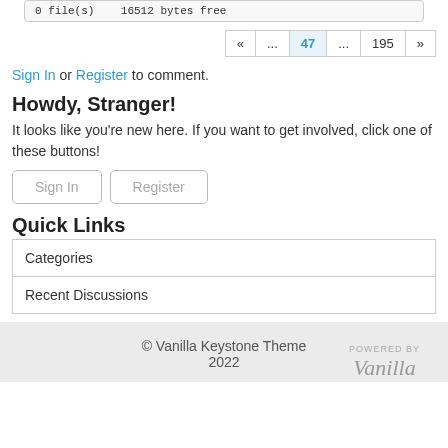0 file(s)   16512 bytes free
« ... 47 ... 195 »
Sign In or Register to comment.
Howdy, Stranger!
It looks like you're new here. If you want to get involved, click one of these buttons!
Sign In   Register
Quick Links
| Categories |
| Recent Discussions |
© Vanilla Keystone Theme 2022  POWERED BY Vanilla